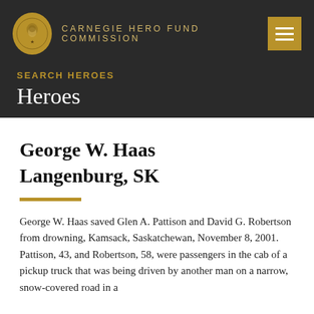CARNEGIE HERO FUND COMMISSION
SEARCH HEROES
Heroes
George W. Haas
Langenburg, SK
George W. Haas saved Glen A. Pattison and David G. Robertson from drowning, Kamsack, Saskatchewan, November 8, 2001. Pattison, 43, and Robertson, 58, were passengers in the cab of a pickup truck that was being driven by another man on a narrow, snow-covered road in a